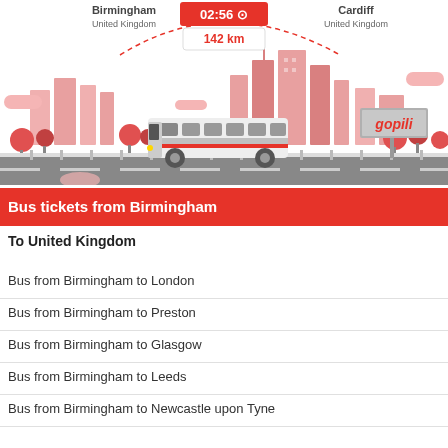[Figure (illustration): Transport illustration showing a bus on a road between Birmingham and Cardiff with city skyline, trees, dashed route arc, time '02:56' and distance '142 km', and a 'gopili' billboard sign]
Bus tickets from Birmingham
To United Kingdom
Bus from Birmingham to London
Bus from Birmingham to Preston
Bus from Birmingham to Glasgow
Bus from Birmingham to Leeds
Bus from Birmingham to Newcastle upon Tyne